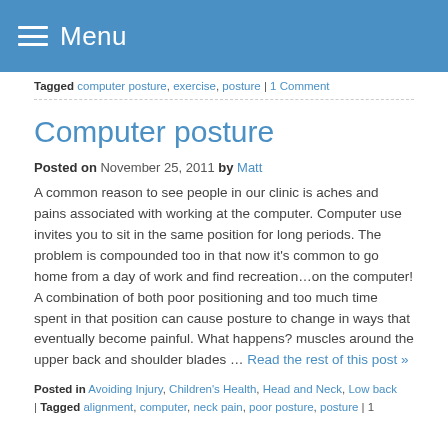Menu
Tagged computer posture, exercise, posture | 1 Comment
Computer posture
Posted on November 25, 2011 by Matt
A common reason to see people in our clinic is aches and pains associated with working at the computer. Computer use invites you to sit in the same position for long periods. The problem is compounded too in that now it's common to go home from a day of work and find recreation…on the computer! A combination of both poor positioning and too much time spent in that position can cause posture to change in ways that eventually become painful. What happens? muscles around the upper back and shoulder blades … Read the rest of this post »
Posted in Avoiding Injury, Children's Health, Head and Neck, Low back | Tagged alignment, computer, neck pain, poor posture, posture | 1